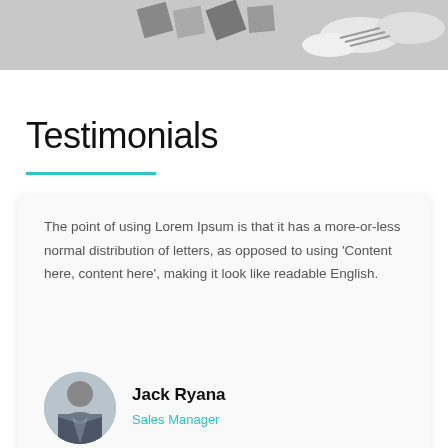[Figure (photo): Top banner image showing a chess board with black and white figures from an aerial perspective]
Testimonials
The point of using Lorem Ipsum is that it has a more-or-less normal distribution of letters, as opposed to using 'Content here, content here', making it look like readable English.
[Figure (photo): Circular portrait photo of a man in a suit]
Jack Ryana
Sales Manager